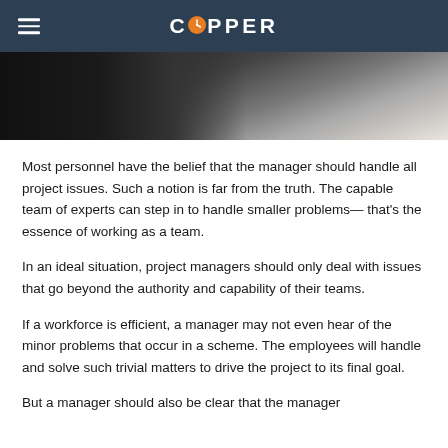COPPER
[Figure (photo): A person in dark clothing at a desk, with papers and pens visible in the background]
Most personnel have the belief that the manager should handle all project issues. Such a notion is far from the truth. The capable team of experts can step in to handle smaller problems— that's the essence of working as a team.
In an ideal situation, project managers should only deal with issues that go beyond the authority and capability of their teams.
If a workforce is efficient, a manager may not even hear of the minor problems that occur in a scheme. The employees will handle and solve such trivial matters to drive the project to its final goal.
But a manager should also be clear that the manager...